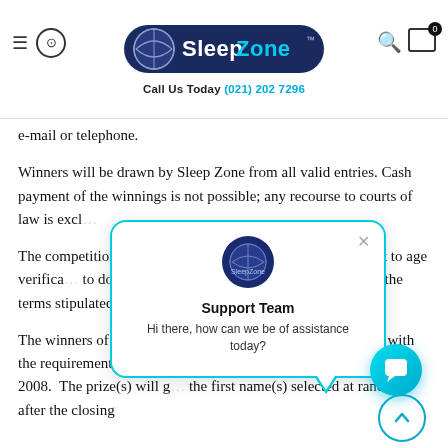SleepZone — Call Us Today (021) 202 7296
e-mail or telephone.
Winners will be drawn by Sleep Zone from all valid entries. Cash payment of the winnings is not possible; any recourse to courts of law is excl...
The competition winn... acceptance of his/her... ll be subject to age verifica... to do so, Sleep Zone rese... er in accordance with the terms stipulated herein.
[Figure (screenshot): Chat support popup with SleepZone logo, 'Support Team' heading, and message 'Hi there, how can we be of assistance today?' with cyan border and close button.]
The winners of this competition shall be chose... accordance with the requirements and proced... of the Consumer Protection Act of 2008. The prize(s) will g... the first name(s) selected at random after the closing